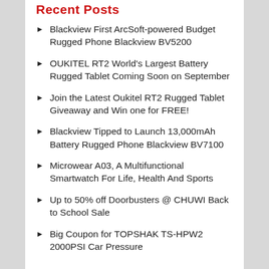Recent Posts
Blackview First ArcSoft-powered Budget Rugged Phone Blackview BV5200
OUKITEL RT2 World's Largest Battery Rugged Tablet Coming Soon on September
Join the Latest Oukitel RT2 Rugged Tablet Giveaway and Win one for FREE!
Blackview Tipped to Launch 13,000mAh Battery Rugged Phone Blackview BV7100
Microwear A03, A Multifunctional Smartwatch For Life, Health And Sports
Up to 50% off Doorbusters @ CHUWI Back to School Sale
Big Coupon for TOPSHAK TS-HPW2 2000PSI Car Pressure